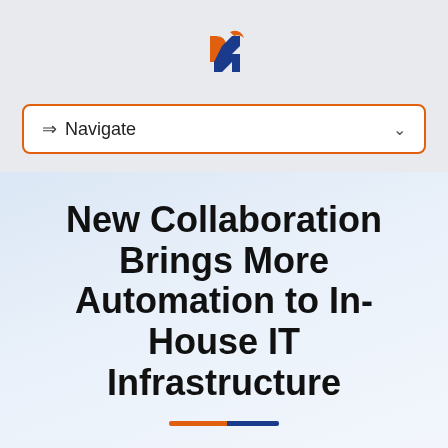[Figure (logo): Stylized hexagonal logo with orange and blue interlocking letter P and N shapes]
⇒ Navigate
New Collaboration Brings More Automation to In-House IT Infrastructure
Industry leaders Hewlett Packard Enterprise and Eaton are collaborating in a fresh way to bring increased value to companies like yours.